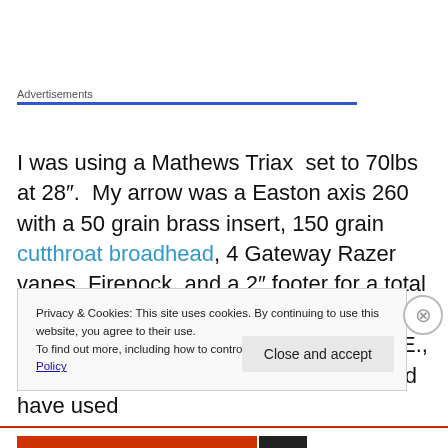Advertisements
I was using a Mathews Triax  set to 70lbs at 28".  My arrow was a Easton axis 260 with a 50 grain brass insert, 150 grain cutthroat broadhead, 4 Gateway Razer vanes, Firenock, and a 2" footer for a total arrow weight of 550 grains.  Ontarget2 calculated approximately 260 fps, 80 K.E., .630 momentum and 19% FOC.  I should have used
Privacy & Cookies: This site uses cookies. By continuing to use this website, you agree to their use.
To find out more, including how to control cookies, see here: Cookie Policy